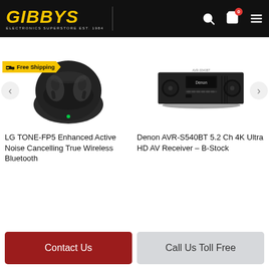GIBBYS Electronics
[Figure (photo): LG TONE-FP5 true wireless earbuds in open charging case, dark grey/black color, with Free Shipping badge]
[Figure (photo): Denon AVR-S540BT 5.2 channel 4K Ultra HD AV Receiver in black, front view]
LG TONE-FP5 Enhanced Active Noise Cancelling True Wireless Bluetooth
Denon AVR-S540BT 5.2 Ch 4K Ultra HD AV Receiver – B-Stock
Contact Us
Call Us Toll Free